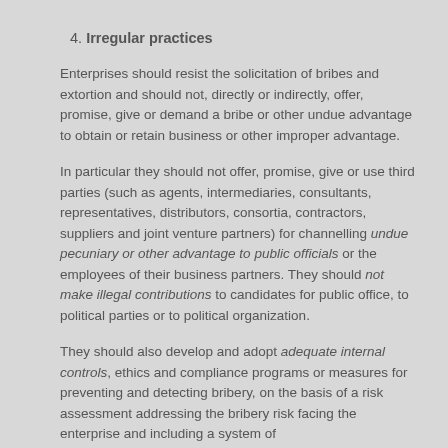4. Irregular practices
Enterprises should resist the solicitation of bribes and extortion and should not, directly or indirectly, offer, promise, give or demand a bribe or other undue advantage to obtain or retain business or other improper advantage.
In particular they should not offer, promise, give or use third parties (such as agents, intermediaries, consultants, representatives, distributors, consortia, contractors, suppliers and joint venture partners) for channelling undue pecuniary or other advantage to public officials or the employees of their business partners. They should not make illegal contributions to candidates for public office, to political parties or to political organization.
They should also develop and adopt adequate internal controls, ethics and compliance programs or measures for preventing and detecting bribery, on the basis of a risk assessment addressing the bribery risk facing the enterprise and including a system of